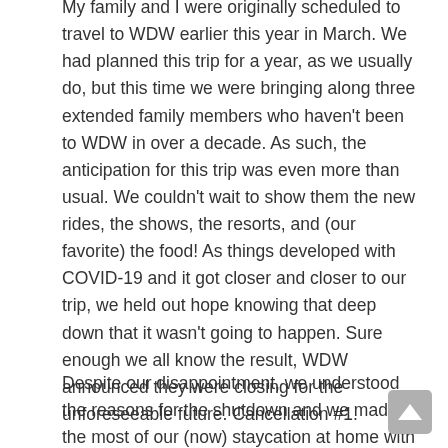My family and I were originally scheduled to travel to WDW earlier this year in March. We had planned this trip for a year, as we usually do, but this time we were bringing along three extended family members who haven't been to WDW in over a decade. As such, the anticipation for this trip was even more than usual. We couldn't wait to show them the new rides, the shows, the resorts, and (our favorite) the food! As things developed with COVID-19 and it got closer and closer to our trip, we held out hope knowing that deep down that it wasn't going to happen. Sure enough we all know the result, WDW announced they were closing for the unforeseeable future. Cancellation #1.
Despite our disappointment, we understood the reasons for the shutdown and we made the most of our (now) staycation at home with lots of virtual WDW rides via YouTube, old DIS videos, and baking our own Disney inspired snacks. I even gave our 3-year-old